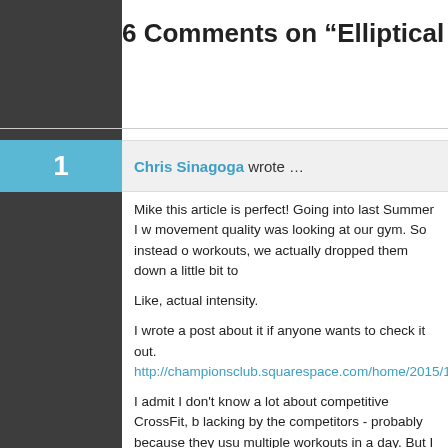6 Comments on “Elliptical S…”
Chris Sinagoga wrote …
Mike this article is perfect! Going into last Summer I w… movement quality was looking at our gym. So instead o… workouts, we actually dropped them down a little bit to…
Like, actual intensity.
I wrote a post about it if anyone wants to check it out.
http://championsclub.squarespace.com/home/2015/1…
I admit I don't know a lot about competitive CrossFit, b… lacking by the competitors - probably because they usu… multiple workouts in a day. But I remember a video of … doing an Open workout last year with rowing and some… Afterwards, he said he had never felt like that after a w… I had believed for a while.
Like I said, good article though. Hope this gets come ch…